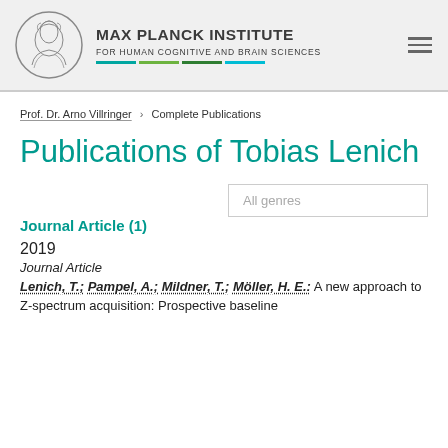MAX PLANCK INSTITUTE FOR HUMAN COGNITIVE AND BRAIN SCIENCES
Prof. Dr. Arno Villringer › Complete Publications
Publications of Tobias Lenich
All genres
Journal Article (1)
2019
Journal Article
Lenich, T.; Pampel, A.; Mildner, T.; Möller, H. E.: A new approach to Z-spectrum acquisition: Prospective baseline